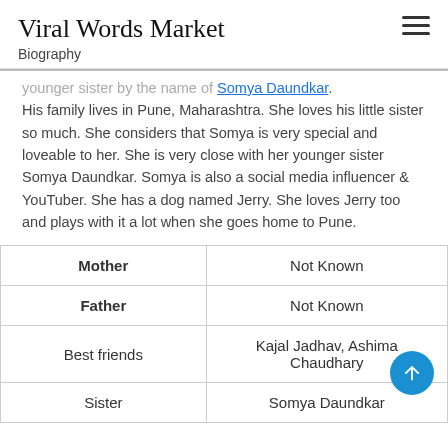Viral Words Market
Biography
younger sister by the name of Somya Daundkar. His family lives in Pune, Maharashtra. She loves his little sister so much. She considers that Somya is very special and loveable to her. She is very close with her younger sister Somya Daundkar. Somya is also a social media influencer & YouTuber. She has a dog named Jerry. She loves Jerry too and plays with it a lot when she goes home to Pune.
|  |  |
| --- | --- |
| Mother | Not Known |
| Father | Not Known |
| Best friends | Kajal Jadhav, Ashima Chaudhary |
| Sister | Somya Daundkar |